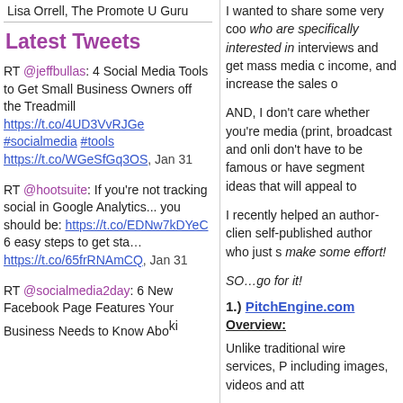Lisa Orrell, The Promote U Guru
Latest Tweets
RT @jeffbullas: 4 Social Media Tools to Get Small Business Owners off the Treadmill https://t.co/4UD3VvRJGe #socialmedia #tools https://t.co/WGeSfGq3OS, Jan 31
RT @hootsuite: If you're not tracking social in Google Analytics... you should be: https://t.co/EDNw7kDYeC 6 easy steps to get sta… https://t.co/65frRNAmCQ, Jan 31
RT @socialmedia2day: 6 New Facebook Page Features Your Business Needs to Know About
I wanted to share some very coo who are specifically interested in interviews and get mass media c income, and increase the sales o
AND, I don't care whether you're media (print, broadcast and onli don't have to be famous or have segment ideas that will appeal to
I recently helped an author-clien self-published author who just s make some effort!
SO…go for it!
1.) PitchEngine.com
Overview:
Unlike traditional wire services, P including images, videos and att